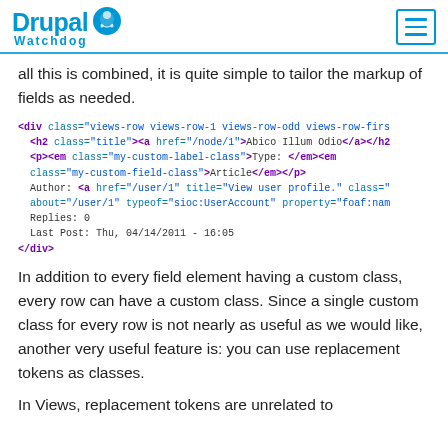Drupal Watchdog
all this is combined, it is quite simple to tailor the markup of fields as needed.
<div class="views-row views-row-1 views-row-odd views-row-firs
  <h2 class="title"><a href="/node/1">Abico Illum Odio</a></h2
  <p><em class="my-custom-label-class">Type: </em><em class="my-custom-field-class">Article</em></p>
  Author: <a href="/user/1" title="View user profile." class="
  about="/user/1" typeof="sioc:UserAccount" property="foaf:nam
  Replies: 0
  Last Post: Thu, 04/14/2011 - 16:05
</div>
In addition to every field element having a custom class, every row can have a custom class. Since a single custom class for every row is not nearly as useful as we would like, another very useful feature is: you can use replacement tokens as classes.
In Views, replacement tokens are unrelated to